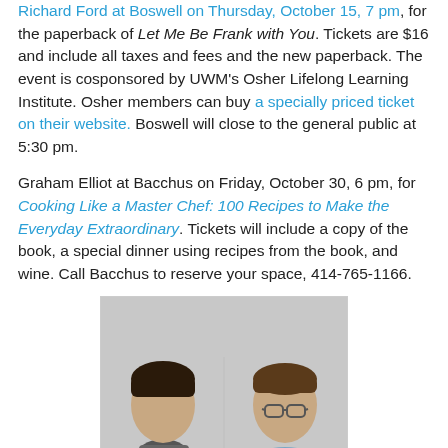Richard Ford at Boswell on Thursday, October 15, 7 pm, for the paperback of Let Me Be Frank with You. Tickets are $16 and include all taxes and fees and the new paperback. The event is cosponsored by UWM's Osher Lifelong Learning Institute. Osher members can buy a specially priced ticket on their website. Boswell will close to the general public at 5:30 pm.
Graham Elliot at Bacchus on Friday, October 30, 6 pm, for Cooking Like a Master Chef: 100 Recipes to Make the Everyday Extraordinary. Tickets will include a copy of the book, a special dinner using recipes from the book, and wine. Call Bacchus to reserve your space, 414-765-1166.
[Figure (photo): Two men in a professional portrait photo against a grey background. On the left is a man with dark hair and a scarf, wearing a grey jacket. On the right is a man with glasses and short hair wearing a light blue shirt.]
Joseph Fink and Jeffrey Cranor in conversation at Turner